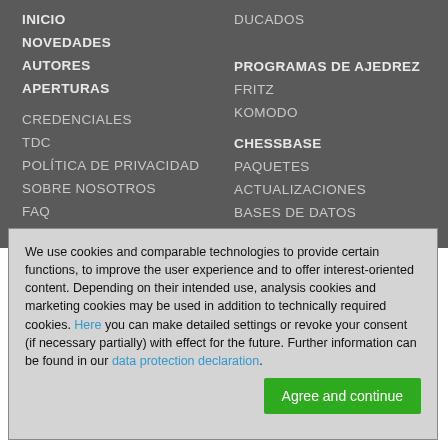INICIO
NOVEDADES
AUTORES
APERTURAS
CREDENCIALES
TDC
POLÍTICA DE PRIVACIDAD
SOBRE NOSOTROS
FAQ
DUCADOS
PROGRAMAS DE AJEDREZ
FRITZ
KOMODO
CHESSBASE
PAQUETES
ACTUALIZACIONES
BASES DE DATOS
We use cookies and comparable technologies to provide certain functions, to improve the user experience and to offer interest-oriented content. Depending on their intended use, analysis cookies and marketing cookies may be used in addition to technically required cookies. Here you can make detailed settings or revoke your consent (if necessary partially) with effect for the future. Further information can be found in our data protection declaration.